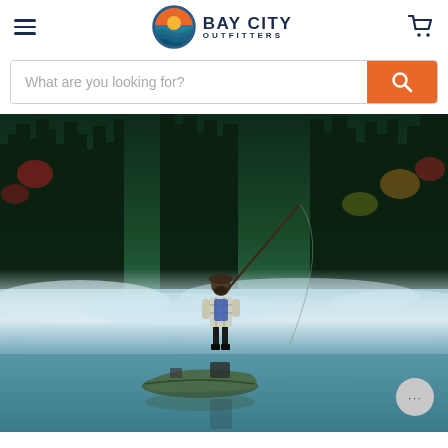Bay City Outfitters — navigation header with hamburger menu and cart icon
What are you looking for?
[Figure (photo): A fisherman standing on a small kayak/boat on a misty lake surrounded by dense forest, fishing with a rod. Morning fog drifts over the calm water. Person wears a plaid flannel shirt and blue vest.]